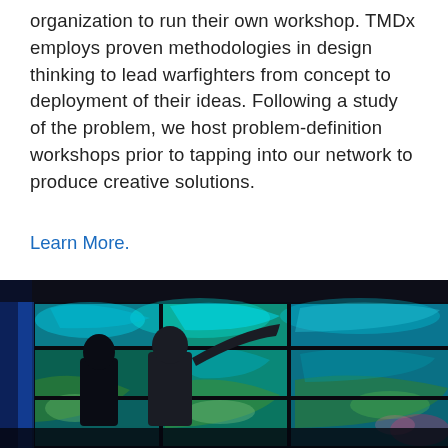organization to run their own workshop. TMDx employs proven methodologies in design thinking to lead warfighters from concept to deployment of their ideas. Following a study of the problem, we host problem-definition workshops prior to tapping into our network to produce creative solutions.
Learn More.
[Figure (photo): Two silhouetted figures standing before a large multi-panel video wall displaying satellite or aerial imagery with vivid cyan, green, and blue colors. One figure is pointing at the screen.]